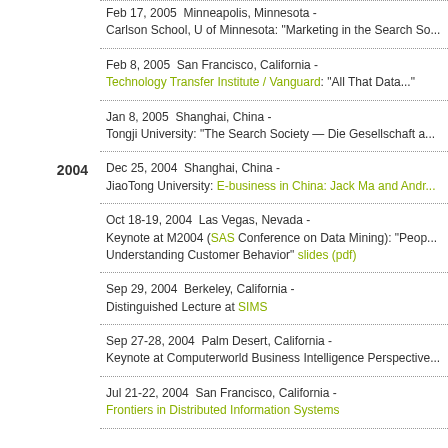Feb 17, 2005  Minneapolis, Minnesota - Carlson School, U of Minnesota: "Marketing in the Search So..."
Feb 8, 2005  San Francisco, California - Technology Transfer Institute / Vanguard: "All That Data..."
Jan 8, 2005  Shanghai, China - Tongji University: "The Search Society — Die Gesellschaft a..."
2004
Dec 25, 2004  Shanghai, China - JiaoTong University: E-business in China: Jack Ma and Andr...
Oct 18-19, 2004  Las Vegas, Nevada - Keynote at M2004 (SAS Conference on Data Mining): "Peop... Understanding Customer Behavior" slides (pdf)
Sep 29, 2004  Berkeley, California - Distinguished Lecture at SIMS
Sep 27-28, 2004  Palm Desert, California - Keynote at Computerworld Business Intelligence Perspective...
Jul 21-22, 2004  San Francisco, California - Frontiers in Distributed Information Systems